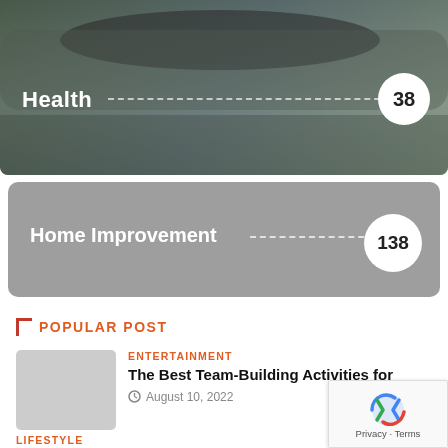[Figure (photo): Health category banner with gym/weightlifting background photo, white text 'Health' and number badge '38']
[Figure (photo): Home Improvement category banner with grey background, white text 'Home Improvement' and number badge '138']
POPULAR POST
ENTERTAINMENT
The Best Team-Building Activities for
August 10, 2022
LIFESTYLE